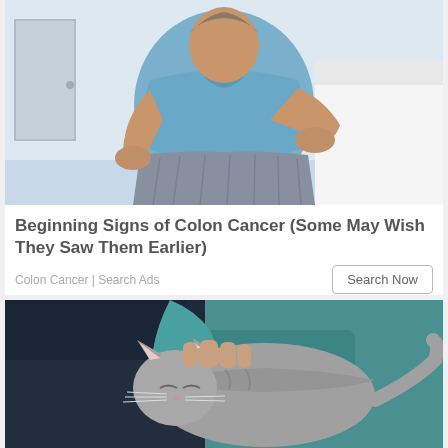[Figure (photo): A man in a blue shirt and grey striped pajama pants sitting on a bed, holding his stomach/abdomen area, suggesting abdominal pain. White bedding visible in the background.]
Beginning Signs of Colon Cancer (Some May Wish They Saw Them Earlier)
Colon Cancer | Search Ads
[Figure (photo): A grey cat being petted by a person wearing a teal/turquoise sleeve and dark pants. The cat appears to be resting or sleeping.]